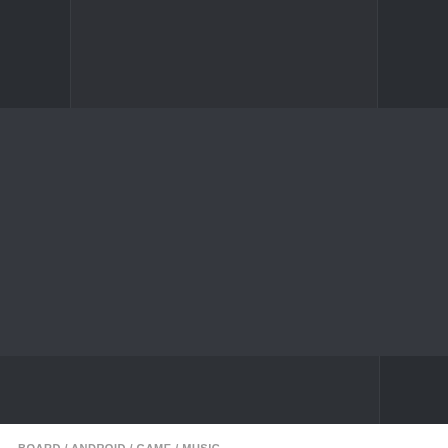[Figure (screenshot): Dark navigation bar with left and right panels separated by borders]
[Figure (screenshot): Dark banner/header area]
[Figure (screenshot): Dark bottom navigation bar with right panel]
BOARD / ANDROID / GAME / MUSIC
Kingsense�APK v1.21.40�
[Figure (screenshot): Light gray content box area]